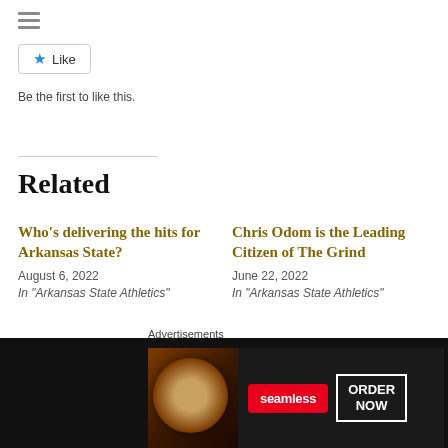[Figure (other): Hamburger menu icon (three horizontal lines)]
[Figure (other): Like button with blue star icon and 'Like' label]
Be the first to like this.
Related
Who's delivering the hits for Arkansas State?
August 6, 2022
In "Arkansas State Athletics"
Chris Odom is the Leading Citizen of The Grind
June 22, 2022
In "Arkansas State Athletics"
The Red Wolves Back
Advertisements
[Figure (screenshot): Seamless food delivery advertisement with pizza image, Seamless logo, and ORDER NOW button]